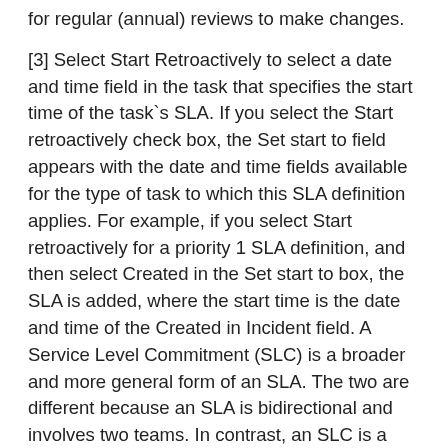for regular (annual) reviews to make changes.
[3] Select Start Retroactively to select a date and time field in the task that specifies the start time of the task`s SLA. If you select the Start retroactively check box, the Set start to field appears with the date and time fields available for the type of task to which this SLA definition applies. For example, if you select Start retroactively for a priority 1 SLA definition, and then select Created in the Set start to box, the SLA is added, where the start time is the date and time of the Created in Incident field. A Service Level Commitment (SLC) is a broader and more general form of an SLA. The two are different because an SLA is bidirectional and involves two teams. In contrast, an SLC is a one-sided commitment that defines what a team can guarantee to its customers at all times. How do you know what performance standards my software development must meet? Where can you get benchmarks for SLAs? The best place to find references for software development